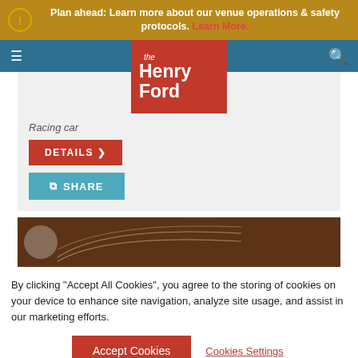Plan ahead: Learn more about our venue operations & safety protocols. Learn More.
[Figure (screenshot): Navigation bar with hamburger menu icon, The Henry Ford logo on orange/red background, and search icon on teal bar]
Racing car
DETAILS >
SHARE
[Figure (photo): Brown colored close-up image of a racing car detail with circular emblem and curved lines]
By clicking "Accept All Cookies", you agree to the storing of cookies on your device to enhance site navigation, analyze site usage, and assist in our marketing efforts.
Accept Cookies
Cookies Settings